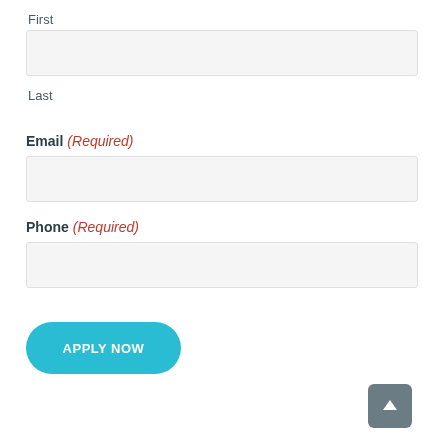First
Last
Email (Required)
Phone (Required)
APPLY NOW
[Figure (other): Back to top arrow button in grey rounded square]